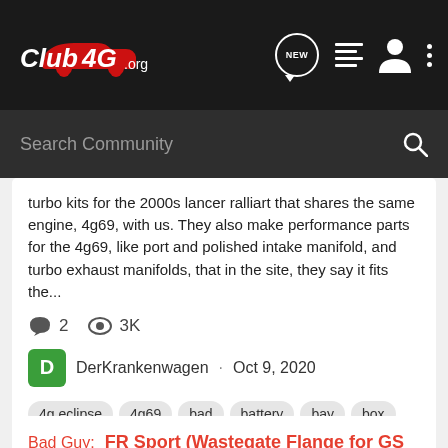[Figure (logo): Club4G.org logo in white/red on dark background navigation bar with NEW chat icon, list icon, user icon, and dots menu icon]
Search Community
turbo kits for the 2000s lancer ralliart that shares the same engine, 4g69, with us. They also make performance parts for the 4g69, like port and polished intake manifold, and turbo exhaust manifolds, that in the site, they say it fits the...
2   3K
DerKrankenwagen · Oct 9, 2020
4g eclipse
4g69
bad
battery
bay
box
eclipse
engine
evo
exhaust
fitment
fuel
intake
kits
manifold
parts
performance
performance parts
pictures
pipe
ralliart
stock
timing
turbo
turbo gs
turbo kit
universal
Bad Guy:  FR Sport (Wastegate Flange for GS Intake Manifold Resonator Delete)